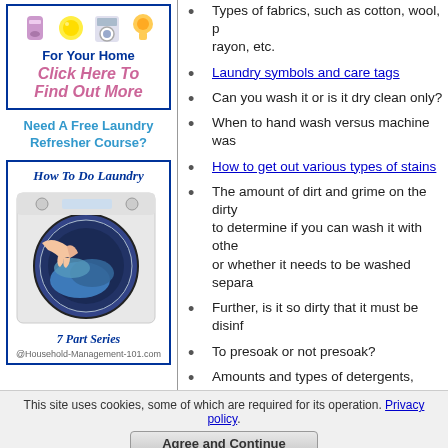[Figure (illustration): Advertisement box with laundry product icons (bottle, lemon, washer, soap), 'For Your Home' heading, and 'Click Here To Find Out More' call to action in pink italic text]
Need A Free Laundry Refresher Course?
[Figure (illustration): Book cover image: 'How To Do Laundry' 7 Part Series, showing a hand loading laundry into a front-loading washing machine, from Household-Management-101.com]
Types of fabrics, such as cotton, wool, polyester, rayon, etc.
Laundry symbols and care tags
Can you wash it or is it dry clean only?
When to hand wash versus machine wash
How to get out various types of stains
The amount of dirt and grime on the dirty laundry to determine if you can wash it with other items or whether it needs to be washed separately
Further, is it so dirty that it must be disinfected
To presoak or not presoak?
Amounts and types of detergents, pretreaters, and other laundry supplies and additives, and when to add them during the wash cycle
Temperature of the water, such as hot, warm, or cold, for both the wash and rinse cycles
If machine washing, what setting - regular, permanent press, delicate, etc.
This site uses cookies, some of which are required for its operation. Privacy policy.
Agree and Continue